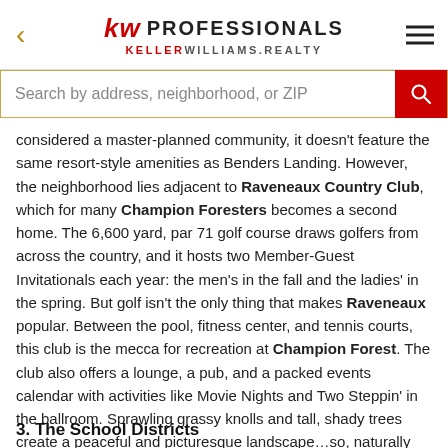kw PROFESSIONALS KELLERWILLIAMS.REALTY
Search by address, neighborhood, or ZIP
considered a master-planned community, it doesn't feature the same resort-style amenities as Benders Landing. However, the neighborhood lies adjacent to Raveneaux Country Club, which for many Champion Foresters becomes a second home. The 6,600 yard, par 71 golf course draws golfers from across the country, and it hosts two Member-Guest Invitationals each year: the men's in the fall and the ladies' in the spring. But golf isn't the only thing that makes Raveneaux popular. Between the pool, fitness center, and tennis courts, this club is the mecca for recreation at Champion Forest. The club also offers a lounge, a pub, and a packed events calendar with activities like Movie Nights and Two Steppin' in the ballroom. Sprawling grassy knolls and tall, shady trees create a peaceful and picturesque landscape…so, naturally they host weddings, too!
3. The School Districts